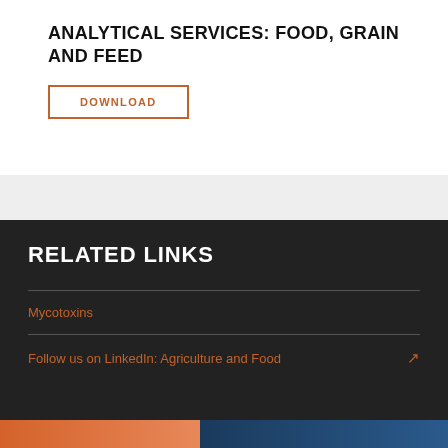ANALYTICAL SERVICES: FOOD, GRAIN AND FEED
DOWNLOAD
RELATED LINKS
Mycotoxins
Follow us on LinkedIn: Agriculture and Food